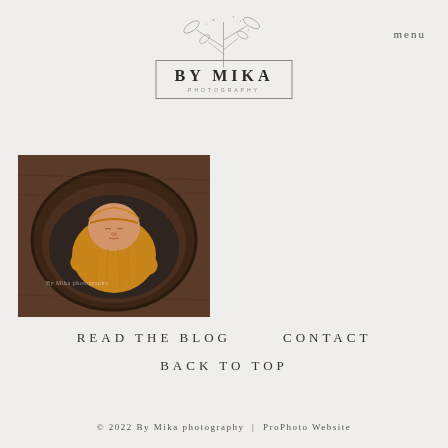menu
[Figure (logo): By Mika Photography logo with botanical illustration above a bordered box containing the text BY MIKA PHOTOGRAPHY]
[Figure (photo): Newborn baby in mustard/golden knit outfit curled up in a dark wooden bowl prop, with watermark 'By Mika photography']
READ THE BLOG
CONTACT
BACK TO TOP
© 2022 By Mika photography | ProPhoto Website